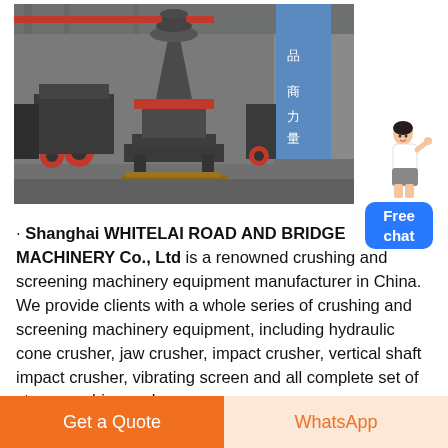[Figure (photo): Factory floor showing multiple large grey cone crushers with red trim and black frames, arranged in a row inside an industrial warehouse with steel structure ceiling. A blue pillar with Chinese characters is visible in the background.]
· Shanghai WHITELAI ROAD AND BRIDGE MACHINERY Co., Ltd is a renowned crushing and screening machinery equipment manufacturer in China. We provide clients with a whole series of crushing and screening machinery equipment, including hydraulic cone crusher, jaw crusher, impact crusher, vertical shaft impact crusher, vibrating screen and all complete set of stone crushing and
Get a Quote
WhatsApp